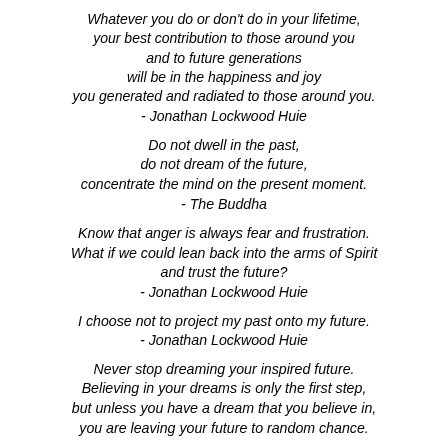Whatever you do or don't do in your lifetime, your best contribution to those around you and to future generations will be in the happiness and joy you generated and radiated to those around you. - Jonathan Lockwood Huie
Do not dwell in the past, do not dream of the future, concentrate the mind on the present moment. - The Buddha
Know that anger is always fear and frustration. What if we could lean back into the arms of Spirit and trust the future? - Jonathan Lockwood Huie
I choose not to project my past onto my future. - Jonathan Lockwood Huie
Never stop dreaming your inspired future. Believing in your dreams is only the first step, but unless you have a dream that you believe in, you are leaving your future to random chance.